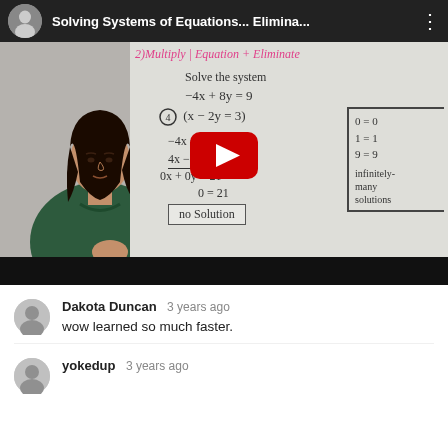[Figure (screenshot): YouTube video thumbnail showing a woman teaching solving systems of equations by elimination method. Whiteboard shows equations: -4x+8y=9, (4)(x-2y=3), steps with 4x+8y=9 and 4x-8y=12, resulting in 0x+0y=21, 0=21, 'no solution'. Side bracket shows 0=0, 1=1, 9=9, infinitely many solutions. Pink handwritten title: 2)Multiply 1 Equation + Eliminate. Red YouTube play button overlay.]
Dakota Duncan  3 years ago
wow learned so much faster.
yokedup  3 years ago